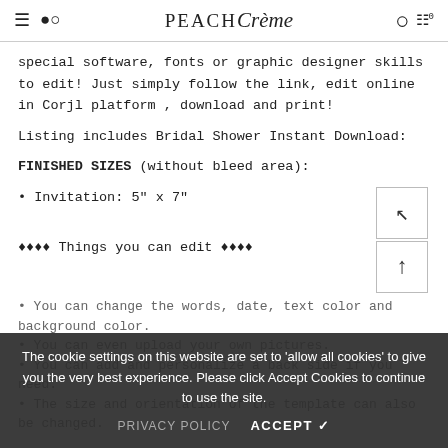Peach Creme — navigation header with hamburger, search, logo, account, and cart icons
special software, fonts or graphic designer skills to edit! Just simply follow the link, edit online in Corjl platform , download and print!
Listing includes Bridal Shower Instant Download:
FINISHED SIZES (without bleed area):
• Invitation: 5" x 7"
◆◆◆◆ Things you can edit ◆◆◆◆
• You can change the words, date, text color and background color.
• You can even upload your own pictures.
• You can add and personalize a back side if you need.
• The size and orientation of the template can also be changed.
The cookie settings on this website are set to 'allow all cookies' to give you the very best experience. Please click Accept Cookies to continue to use the site.